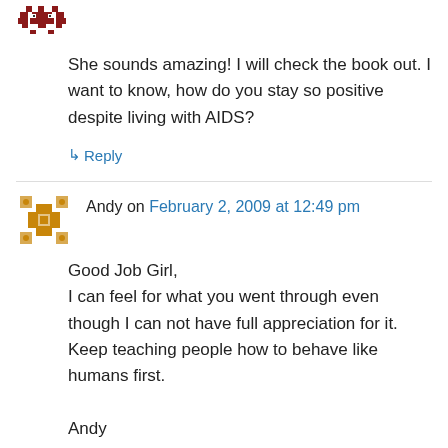She sounds amazing! I will check the book out. I want to know, how do you stay so positive despite living with AIDS?
↳ Reply
Andy on February 2, 2009 at 12:49 pm
Good Job Girl,
I can feel for what you went through even though I can not have full appreciation for it.
Keep teaching people how to behave like humans first.

Andy
↳ Reply